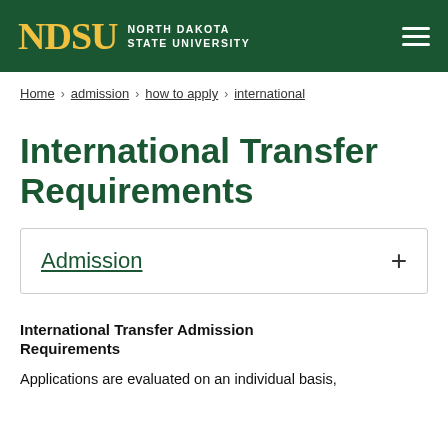NDSU NORTH DAKOTA STATE UNIVERSITY
Home › admission › how to apply › international
International Transfer Requirements
Admission
International Transfer Admission Requirements
Applications are evaluated on an individual basis,